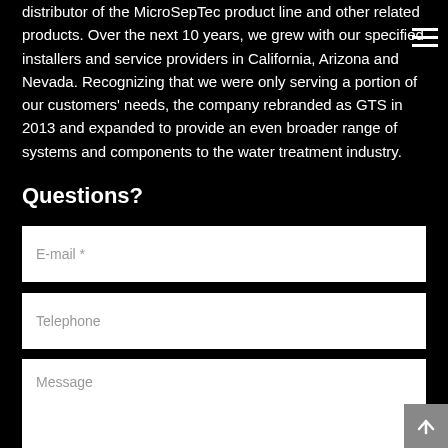distributor of the MicroSepTec product line and other related products. Over the next 10 years, we grew with our specified installers and service providers in California, Arizona and Nevada. Recognizing that we were only serving a portion of our customers' needs, the company rebranded as GTS in 2013 and expanded to provide an even broader range of systems and components to the water treatment industry.
Questions?
E-mail *
Telephone
Message